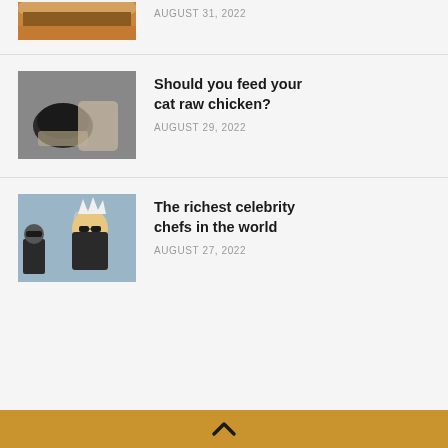[Figure (photo): Partial view of a burger photo at top of page]
AUGUST 31, 2022
[Figure (photo): Black cat being fed from a small bowl]
Should you feed your cat raw chicken?
AUGUST 29, 2022
[Figure (photo): Celebrity chef Guy Fieri at an event, white spiky hair, sunglasses]
The richest celebrity chefs in the world
AUGUST 27, 2022
^